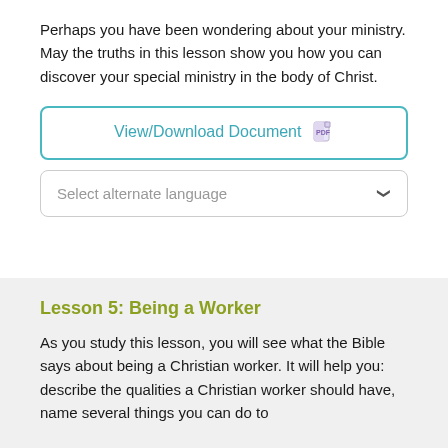Perhaps you have been wondering about your ministry. May the truths in this lesson show you how you can discover your special ministry in the body of Christ.
[Figure (other): View/Download Document button with PDF icon]
[Figure (other): Select alternate language dropdown]
Lesson 5: Being a Worker
As you study this lesson, you will see what the Bible says about being a Christian worker. It will help you: describe the qualities a Christian worker should have, name several things you can do to